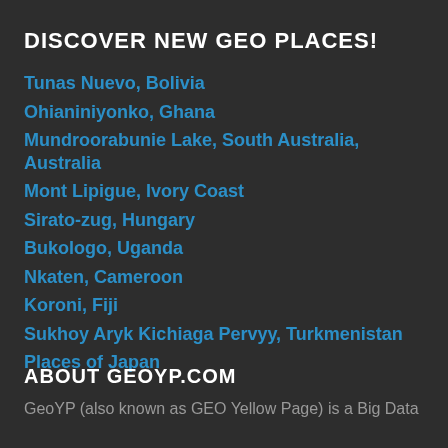DISCOVER NEW GEO PLACES!
Tunas Nuevo, Bolivia
Ohianiniyonko, Ghana
Mundroorabunie Lake, South Australia, Australia
Mont Lipigue, Ivory Coast
Sirato-zug, Hungary
Bukologo, Uganda
Nkaten, Cameroon
Koroni, Fiji
Sukhoy Aryk Kichiaga Pervyy, Turkmenistan
Places of Japan
ABOUT GEOYP.COM
GeoYP (also known as GEO Yellow Page) is a Big Data